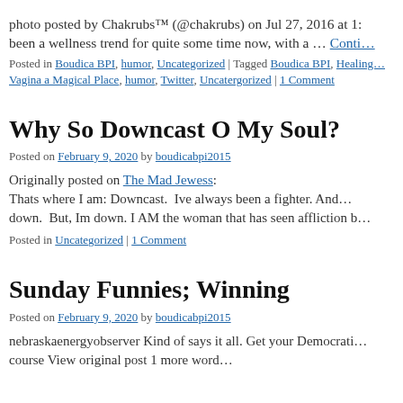photo posted by Chakrubs™ (@chakrubs) on Jul 27, 2016 at 1:… been a wellness trend for quite some time now, with a … Conti…
Posted in Boudica BPI, humor, Uncategorized | Tagged Boudica BPI, Healing… Vagina a Magical Place, humor, Twitter, Uncatergorized | 1 Comment
Why So Downcast O My Soul?
Posted on February 9, 2020 by boudicabpi2015
Originally posted on The Mad Jewess: Thats where I am: Downcast. Ive always been a fighter. And… down. But, Im down. I AM the woman that has seen affliction b…
Posted in Uncategorized | 1 Comment
Sunday Funnies; Winning
Posted on February 9, 2020 by boudicabpi2015
nebraskaenergyobserver Kind of says it all. Get your Democrati… course View original post 1 more word…